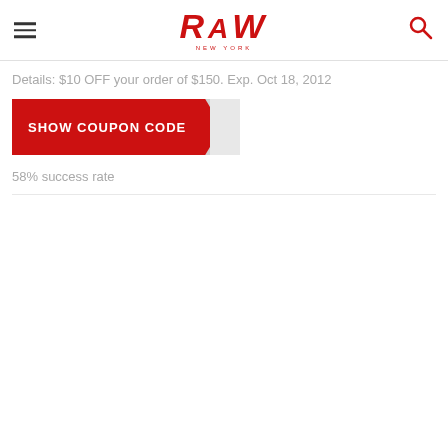RAW
Details: $10 OFF your order of $150. Exp. Oct 18, 2012
[Figure (other): Red coupon button with 'SHOW COUPON CODE' text and folded corner effect]
58% success rate